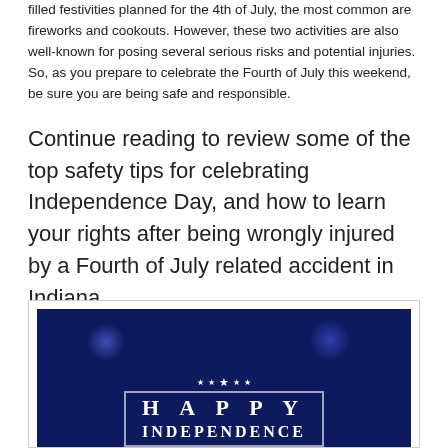filled festivities planned for the 4th of July, the most common are fireworks and cookouts. However, these two activities are also well-known for posing several serious risks and potential injuries. So, as you prepare to celebrate the Fourth of July this weekend, be sure you are being safe and responsible.
Continue reading to review some of the top safety tips for celebrating Independence Day, and how to learn your rights after being wrongly injured by a Fourth of July related accident in Indiana.
[Figure (illustration): Dark navy blue banner image with fireworks decorations and text reading HAPPY INDEPENDENCE (partially visible), styled as a patriotic Independence Day graphic.]